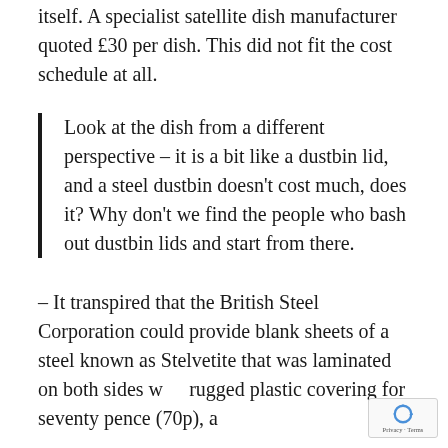itself. A specialist satellite dish manufacturer quoted £30 per dish. This did not fit the cost schedule at all.
Look at the dish from a different perspective – it is a bit like a dustbin lid, and a steel dustbin doesn't cost much, does it? Why don't we find the people who bash out dustbin lids and start from there.
– It transpired that the British Steel Corporation could provide blank sheets of a steel known as Stelvetite that was laminated on both sides with rugged plastic covering for seventy pence (70p), a